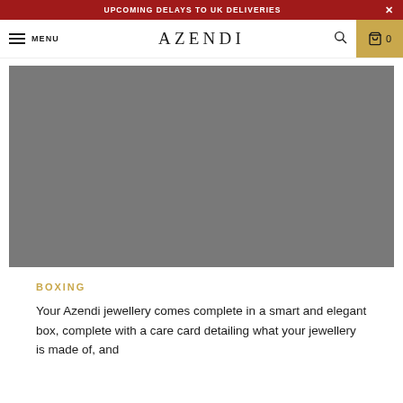UPCOMING DELAYS TO UK DELIVERIES
MENU   AZENDI   0
[Figure (photo): Grey rectangular product image placeholder]
BOXING
Your Azendi jewellery comes complete in a smart and elegant box, complete with a care card detailing what your jewellery is made of, and